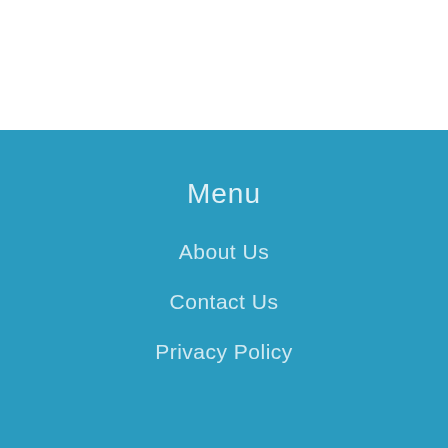Menu
About Us
Contact Us
Privacy Policy